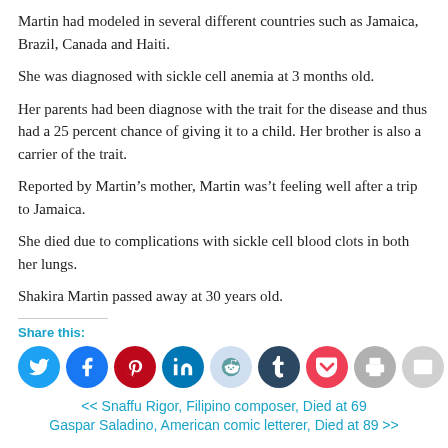Martin had modeled in several different countries such as Jamaica, Brazil, Canada and Haiti.
She was diagnosed with sickle cell anemia at 3 months old.
Her parents had been diagnose with the trait for the disease and thus had a 25 percent chance of giving it to a child. Her brother is also a carrier of the trait.
Reported by Martin's mother, Martin was't feeling well after a trip to Jamaica.
She died due to complications with sickle cell blood clots in both her lungs.
Shakira Martin passed away at 30 years old.
Share this:
[Figure (other): Row of social media sharing icon buttons: Twitter (blue), Facebook (blue), Pinterest (red), LinkedIn (dark blue), Reddit (light blue), Tumblr (dark navy), Pocket (red), Print (gray), Email (gray)]
<< Snaffu Rigor, Filipino composer, Died at 69
Gaspar Saladino, American comic letterer, Died at 89 >>